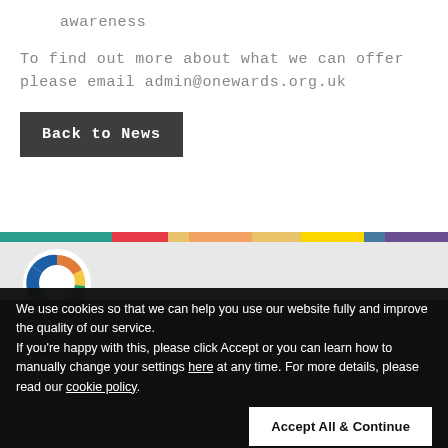awareness
To find out more about what we can offer please email admin@onewards.org.uk
Back to News
[Figure (other): Rainbow multicolor horizontal bar dividing main content from footer area]
[Figure (logo): ONE Awards circular logo with blue, orange, yellow, green segments forming a ring]
We use cookies so that we can help you use our website fully and improve the quality of our service. If you're happy with this, please click Accept or you can learn how to manually change your settings here at any time. For more details, please read our cookie policy.
23 Manor Way
Belasis Business Park
Billingham
Accept All & Continue